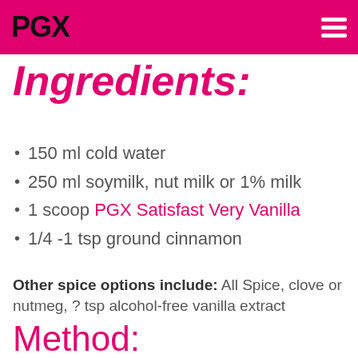PGX [logo]
Ingredients:
150 ml cold water
250 ml soymilk, nut milk or 1% milk
1 scoop PGX Satisfast Very Vanilla
1/4 -1 tsp ground cinnamon
Other spice options include: All Spice, clove or nutmeg, ? tsp alcohol-free vanilla extract
Method:
1. Measure out liquid into a shaker or blender cup.
2. Add a serving of PGX Satisfast, ground cinnamon and